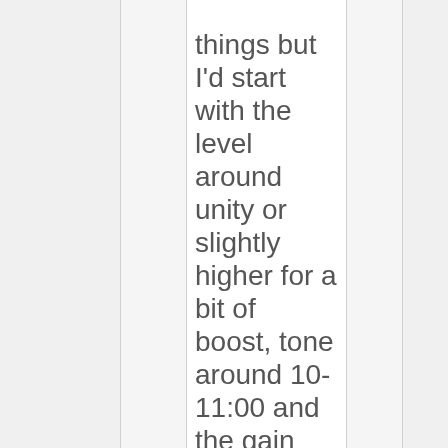things but I'd start with the level around unity or slightly higher for a bit of boost, tone around 10-11:00 and the gain pretty much all the way up.